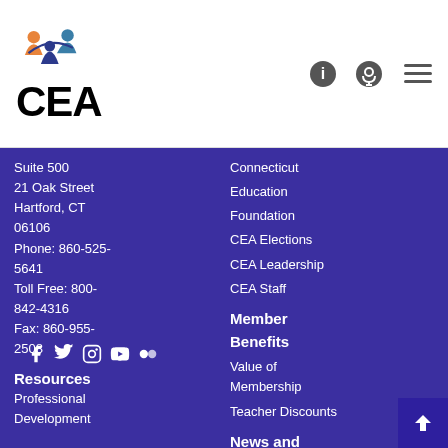[Figure (logo): CEA logo with colorful figure icon above large 'CEA' text]
Suite 500
21 Oak Street
Hartford, CT 06106
Phone: 860-525-5641
Toll Free: 800-842-4316
Fax: 860-955-2508
[Figure (other): Social media icons: Facebook, Twitter, Instagram, YouTube, Flickr]
Resources
Professional Development
Connecticut
Education
Foundation
CEA Elections
CEA Leadership
CEA Staff
Member Benefits
Value of Membership
Teacher Discounts
News and Events
CEAdaily